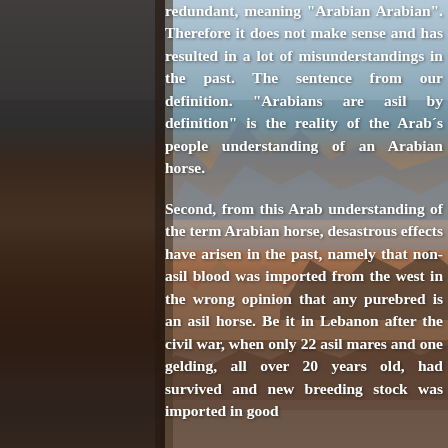redundant, meaning "Arabian Arabian". Therefore it does not make sense and has resulted in a lot of misunderstandings in the past. The sentence from our definition. "Arabians are asil by definition" is the reality of the Arab´s people understanding of an Arabian horse.

Second, from this Arab understanding of the term Arabian horse, desastrous effects have arisen in the past, namely that non-asil blood was imported from the west in the wrong opinion that any purebred is an asil horse. Be it in Lebanon after the civil war, when only 22 asil mares and one gelding, all over 20 years old, had survived and new breeding stock was imported in good